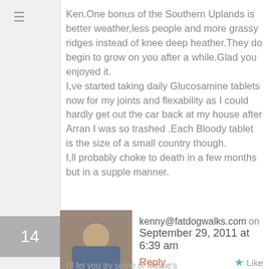Ken.One bonus of the Southern Uplands is better weather,less people and more grassy ridges instead of knee deep heather.They do begin to grow on you after a while.Glad you enjoyed it.
I,ve started taking daily Glucosamine tablets now for my joints and flexability as I could hardly get out the car back at my house after Arran I was so trashed .Each Bloody tablet is the size of a small country though.
I,ll probably choke to death in a few months but in a supple manner.
kenny@fatdogwalks.com on September 29, 2011 at 6:39 am
Reply
Like
I'll let you try some of Maisie's